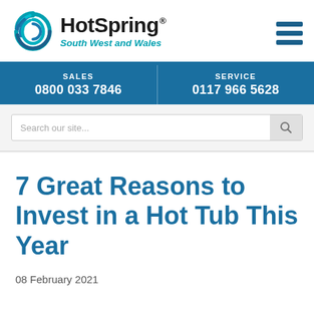[Figure (logo): HotSpring South West and Wales logo with teal wave swirl icon]
SALES
0800 033 7846
SERVICE
0117 966 5628
Search our site...
7 Great Reasons to Invest in a Hot Tub This Year
08 February 2021